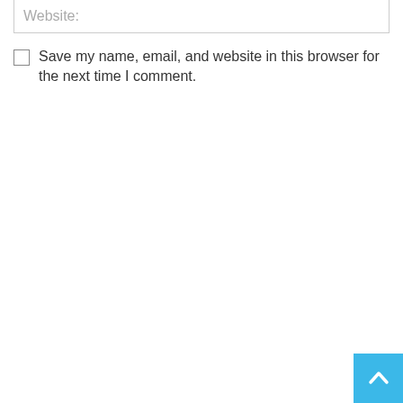Website:
Save my name, email, and website in this browser for the next time I comment.
[Figure (other): Blue back-to-top button with white upward chevron arrow in the bottom-right corner]